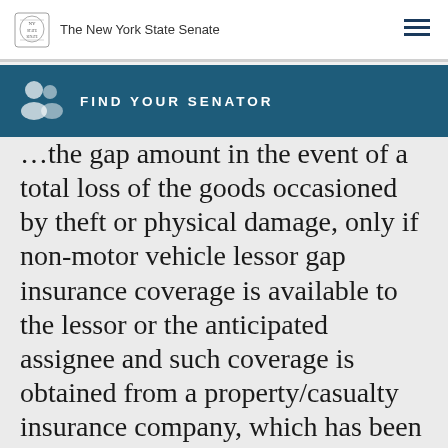The New York State Senate
FIND YOUR SENATOR
... the gap amount in the event of a total loss of the goods occasioned by theft or physical damage, only if non-motor vehicle lessor gap insurance coverage is available to the lessor or the anticipated assignee and such coverage is obtained from a property/casualty insurance company, which has been licensed by the superintendent of financial services of this state to write non-motor